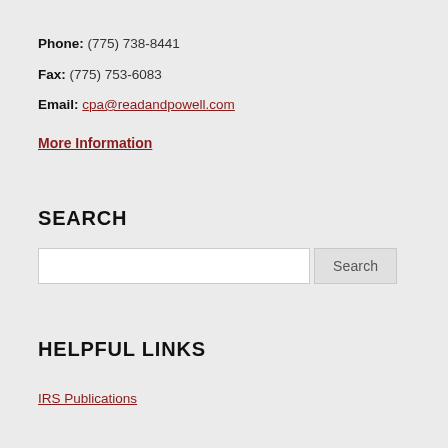Phone: (775) 738-8441
Fax: (775) 753-6083
Email: cpa@readandpowell.com
More Information
SEARCH
Search (input field and button)
HELPFUL LINKS
IRS Publications